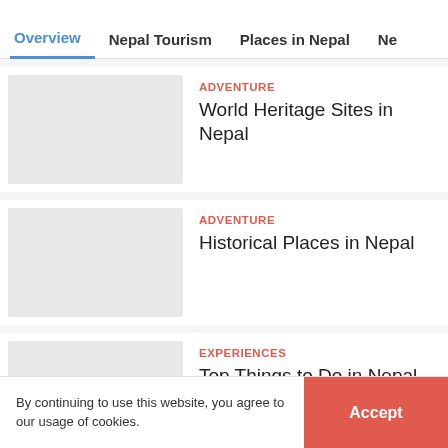Overview | Nepal Tourism | Places in Nepal | Ne
[Figure (photo): Placeholder image for World Heritage Sites in Nepal article]
ADVENTURE
World Heritage Sites in Nepal
[Figure (photo): Placeholder image for Historical Places in Nepal article]
ADVENTURE
Historical Places in Nepal
[Figure (photo): Placeholder image for Top Things to Do in Nepal in 2021 article]
EXPERIENCES
Top Things to Do in Nepal in 2021
By continuing to use this website, you agree to our usage of cookies.